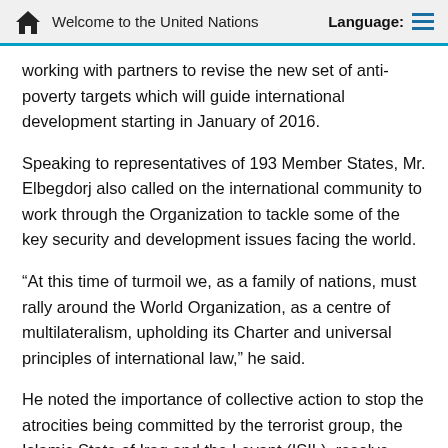Welcome to the United Nations  Language:
working with partners to revise the new set of anti-poverty targets which will guide international development starting in January of 2016.
Speaking to representatives of 193 Member States, Mr. Elbegdorj also called on the international community to work through the Organization to tackle some of the key security and development issues facing the world.
“At this time of turmoil we, as a family of nations, must rally around the World Organization, as a centre of multilateralism, upholding its Charter and universal principles of international law,” he said.
He noted the importance of collective action to stop the atrocities being committed by the terrorist group, the Islamic State of Iraq and the Levant (ISIL), resolve through